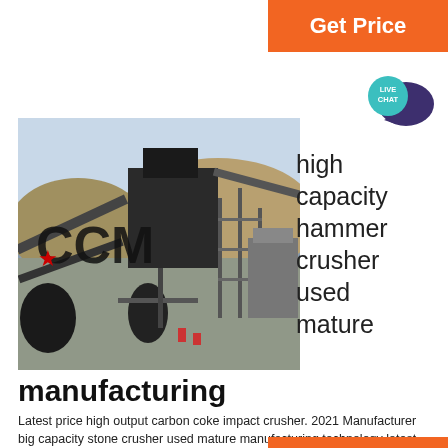Get Price
[Figure (illustration): Live chat speech bubble icon with teal circle and dark purple chat bubble]
[Figure (photo): Industrial stone crushing plant with CCM logo overlay, conveyor belts, machinery and rocky quarry background]
high capacity hammer crusher used mature
manufacturing
Latest price high output carbon coke impact crusher. 2021 Manufacturer big capacity stone crusher used mature manufacturing technology latest price .. high efficiency 3mm output lab hammer crusher